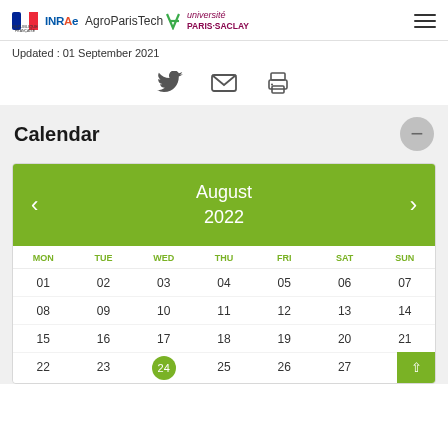Republique Française | INRAE | AgroParisTech | Université Paris-Saclay
Updated : 01 September 2021
[Figure (infographic): Social share icons: Twitter bird, envelope/email, printer]
Calendar
[Figure (infographic): Calendar widget showing August 2022 with navigation arrows. Days grid: MON TUE WED THU FRI SAT SUN. Week 1: 01 02 03 04 05 06 07. Week 2: 08 09 10 11 12 13 14. Week 3: 15 16 17 18 19 20 21. Week 4: 22 23 24(highlighted) 25 26 27 28.]